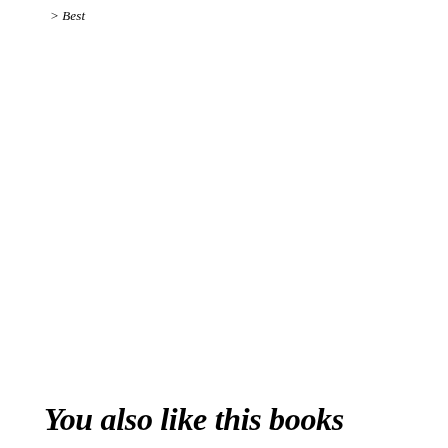> Best
You also like this books